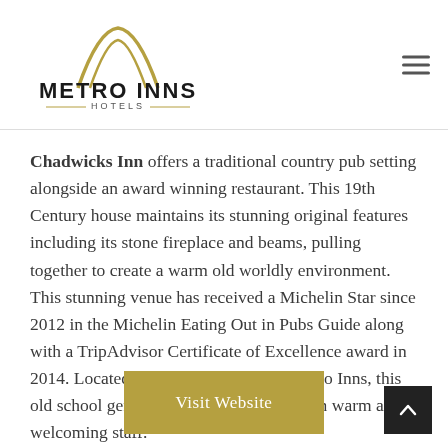Metro Inns Hotels
Chadwicks Inn offers a traditional country pub setting alongside an award winning restaurant. This 19th Century house maintains its stunning original features including its stone fireplace and beams, pulling together to create a warm old worldly environment. This stunning venue has received a Michelin Star since 2012 in the Michelin Eating Out in Pubs Guide along with a TripAdvisor Certificate of Excellence award in 2014. Located only 10 minutes from Metro Inns, this old school gem serves exquisite food from warm and welcoming staff.
Visit Website